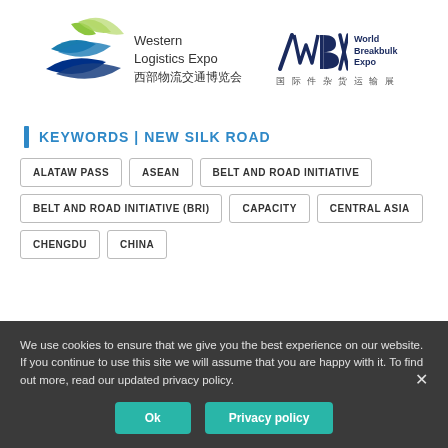[Figure (logo): Western Logistics Expo logo with green and blue fan/wave shapes, text 'Western Logistics Expo' and Chinese characters '西部物流交通博览会']
[Figure (logo): WBX World Breakbulk Expo logo with stylized WBX letters and Chinese characters '国际件杂货运输展']
KEYWORDS | NEW SILK ROAD
ALATAW PASS
ASEAN
BELT AND ROAD INITIATIVE
BELT AND ROAD INITIATIVE (BRI)
CAPACITY
CENTRAL ASIA
CHENGDU
CHINA
We use cookies to ensure that we give you the best experience on our website. If you continue to use this site we will assume that you are happy with it. To find out more, read our updated privacy policy.